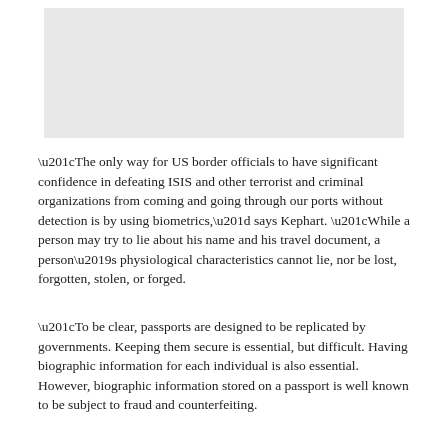[Figure (photo): Placeholder image area, light gray rectangle]
“The only way for US border officials to have significant confidence in defeating ISIS and other terrorist and criminal organizations from coming and going through our ports without detection is by using biometrics,” says Kephart. “While a person may try to lie about his name and his travel document, a person’s physiological characteristics cannot lie, nor be lost, forgotten, stolen, or forged.
“To be clear, passports are designed to be replicated by governments. Keeping them secure is essential, but difficult. Having biographic information for each individual is also essential. However, biographic information stored on a passport is well known to be subject to fraud and counterfeiting.
“This is especially so when even ePassports (which contain a chip that bearing the information that is on a passport bio page) are not systematically authenticated, as is the case with the US immigration entry system. Yet when one or more biometrics is added to the biographic border process, then the ability of a fake